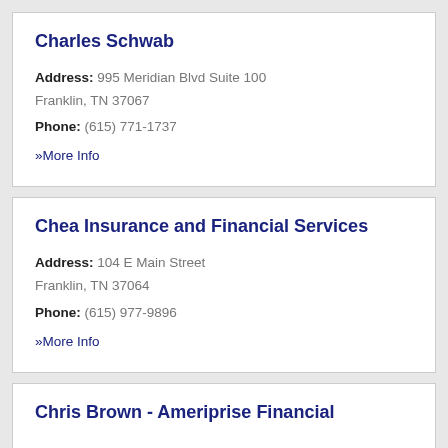Charles Schwab
Address: 995 Meridian Blvd Suite 100 Franklin, TN 37067
Phone: (615) 771-1737
» More Info
Chea Insurance and Financial Services
Address: 104 E Main Street Franklin, TN 37064
Phone: (615) 977-9896
» More Info
Chris Brown - Ameriprise Financial